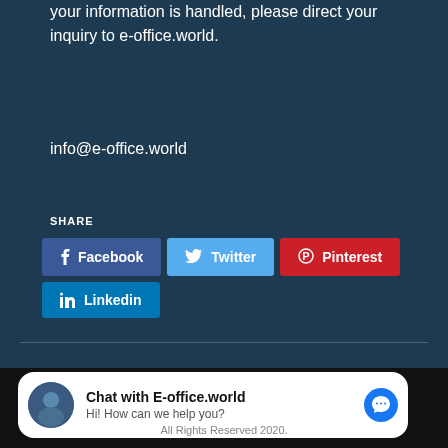your information is handled, please direct your inquiry to e-office.world.
info@e-office.world
SHARE
Facebook
Twitter
Pinterest
Linkedin
Chat with E-office.world
Hi! How can we help you?
All Rights Reserved 2020.